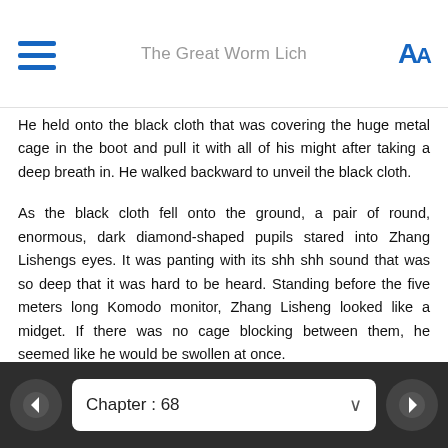The Great Worm Lich
He held onto the black cloth that was covering the huge metal cage in the boot and pull it with all of his might after taking a deep breath in. He walked backward to unveil the black cloth.
As the black cloth fell onto the ground, a pair of round, enormous, dark diamond-shaped pupils stared into Zhang Lishengs eyes. It was panting with its shh shh sound that was so deep that it was hard to be heard. Standing before the five meters long Komodo monitor, Zhang Lisheng looked like a midget. If there was no cage blocking between them, he seemed like he would be swollen at once.
Looking at the small, standing animal that captured and tortured it in front, eventually, the giant lizard mustered its last strength and supported itself up. It dashed all of a sudden and bang onto the metal cage. Its skinny body that was less than three pounds made the close to three tonnes SUV shook intensely. The metal cage was brought forward bit by bit, it seemed like it was going to fall off
Chapter : 68